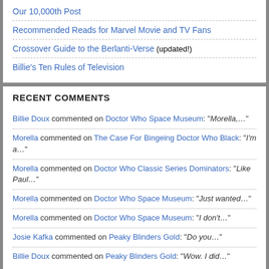Our 10,000th Post
Recommended Reads for Marvel Movie and TV Fans
Crossover Guide to the Berlanti-Verse (updated!)
Billie's Ten Rules of Television
RECENT COMMENTS
Billie Doux commented on Doctor Who Space Museum: "Morella,…"
Morella commented on The Case For Bingeing Doctor Who Black: "I'm a…"
Morella commented on Doctor Who Classic Series Dominators: "Like Paul…"
Morella commented on Doctor Who Space Museum: "Just wanted…"
Morella commented on Doctor Who Space Museum: "I don't…"
Josie Kafka commented on Peaky Blinders Gold: "Do you…"
Billie Doux commented on Peaky Blinders Gold: "Wow. I did…"